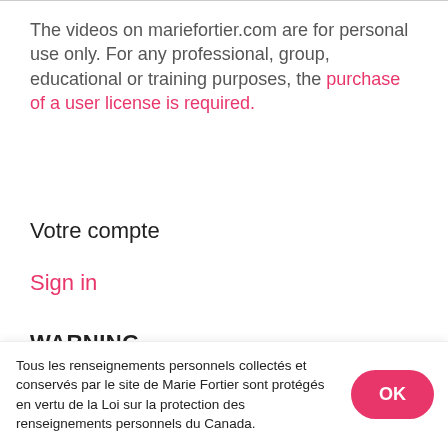The videos on mariefortier.com are for personal use only. For any professional, group, educational or training purposes, the purchase of a user license is required.
Votre compte
Sign in
WARNING
Mariefortier.com and the information found
Tous les renseignements personnels collectés et conservés par le site de Marie Fortier sont protégés en vertu de la Loi sur la protection des renseignements personnels du Canada.